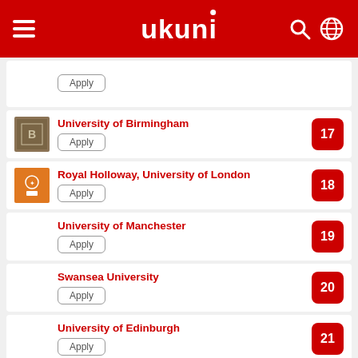[Figure (screenshot): UKuni mobile app header with hamburger menu, UKuni logo, search icon and globe icon on red background]
Apply (partial card at top)
University of Birmingham - Apply - 17
Royal Holloway, University of London - Apply - 18
University of Manchester - Apply - 19
Swansea University - Apply - 20
University of Edinburgh - Apply - 21
University of Roehampton - Apply - 22
University of Wales, Trinity Saint David (partial)